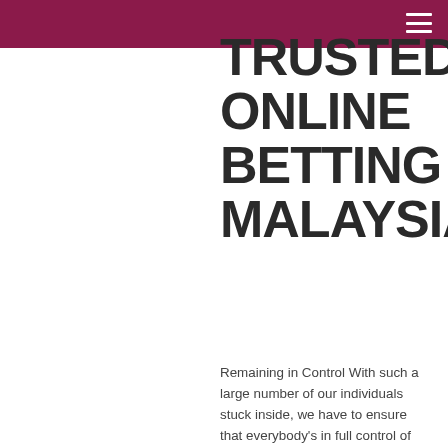TRUSTED ONLINE BETTING MALAYSIA
Remaining in Control With such a large number of our individuals stuck inside, we have to ensure that everybody's in full control of what they're wagering. Presently like never before, it's critical to take customary breaks and recollect that wagering's about diversion – it's just fun in case you're wagering inside your spending plan. To bet dependably, it would be ideal if you view the scope of instruments we have accessible to you, similar as far as possible, time limits, and other betting controls. You can look at Casino Online Malaysia Free Credit alternatives directly here. Staying in contact A large portion of our client assistance counselors are telecommuting at